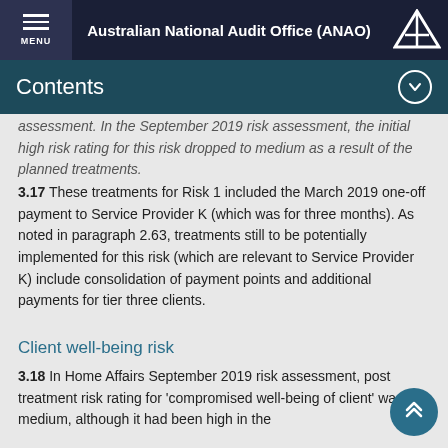Australian National Audit Office (ANAO)
Contents
assessment. In the September 2019 risk assessment, the initial high risk rating for this risk dropped to medium as a result of the planned treatments.
3.17    These treatments for Risk 1 included the March 2019 one-off payment to Service Provider K (which was for three months). As noted in paragraph 2.63, treatments still to be potentially implemented for this risk (which are relevant to Service Provider K) include consolidation of payment points and additional payments for tier three clients.
Client well-being risk
3.18    In Home Affairs September 2019 risk assessment, post treatment risk rating for 'compromised well-being of client' was medium, although it had been high in the